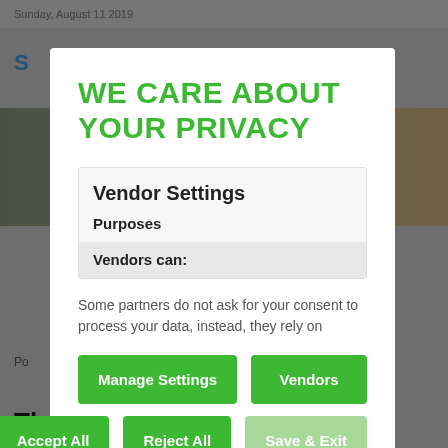Sunday, August 11 2019
WE CARE ABOUT YOUR PRIVACY
Vendor Settings
Purposes
Vendors can:
Some partners do not ask for your consent to process your data, instead, they rely on
Manage Settings
Vendors
Accept All
Reject All
Save & Exit
The look on MC Kats while